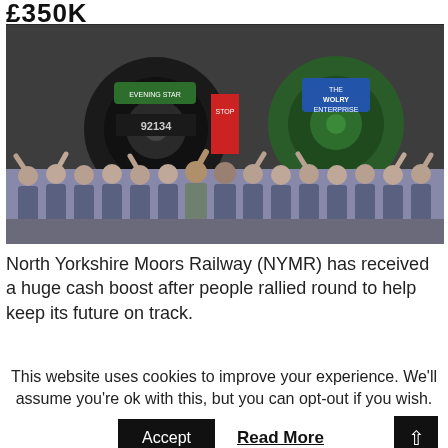£350K
[Figure (photo): Group of approximately 25 railway workers in blue overalls waving and cheering in front of two steam locomotives (numbered 92134 and a green engine labelled 'The Wolry Enterprise') inside a large shed or depot.]
North Yorkshire Moors Railway (NYMR) has received a huge cash boost after people rallied round to help keep its future on track.
This website uses cookies to improve your experience. We'll assume you're ok with this, but you can opt-out if you wish.